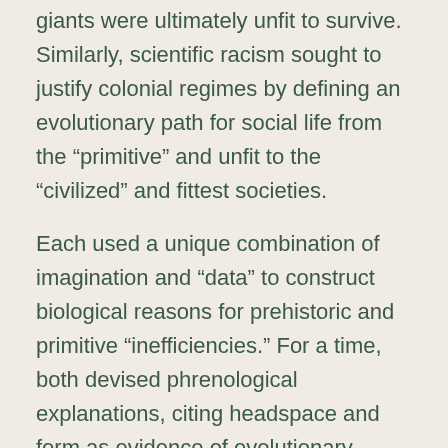giants were ultimately unfit to survive. Similarly, scientific racism sought to justify colonial regimes by defining an evolutionary path for social life from the “primitive” and unfit to the “civilized” and fittest societies.
Each used a unique combination of imagination and “data” to construct biological reasons for prehistoric and primitive “inefficiencies.” For a time, both devised phrenological explanations, citing headspace and form as evidence of evolutionary disfavor. In both the literature of racial science and paleontology, this leads the subjects of study to be given similar personality traits such as being ‘indolent,’ ‘stupid,’ ‘lumbering,’ ‘infantile,’ ‘gluttonous,’ and others.